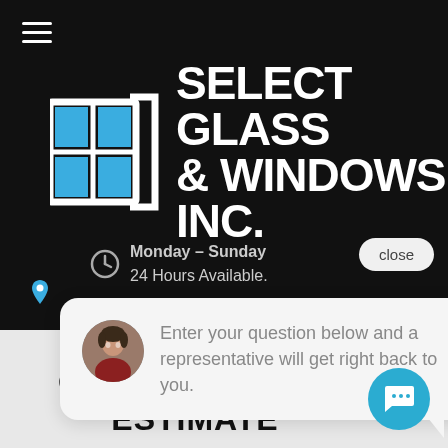[Figure (logo): Select Glass & Windows Inc. logo with blue window icon and white bold text on black background]
Monday – Sunday
24 Hours Available.
close
Enter your question below and a representative will get right back to you.
GET YOUR FREE ESTIMATE